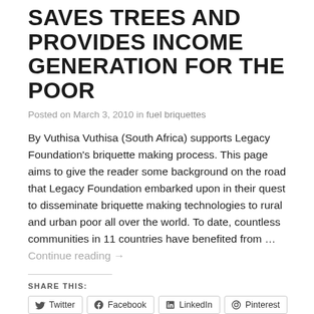SAVES TREES AND PROVIDES INCOME GENERATION FOR THE POOR
Posted on March 3, 2010 in fuel briquettes
By Vuthisa Vuthisa (South Africa) supports Legacy Foundation's briquette making process. This page aims to give the reader some background on the road that Legacy Foundation embarked upon in their quest to disseminate briquette making technologies to rural and urban poor all over the world. To date, countless communities in 11 countries have benefited from … Continue reading →
SHARE THIS:
Twitter  Facebook  LinkedIn  Pinterest